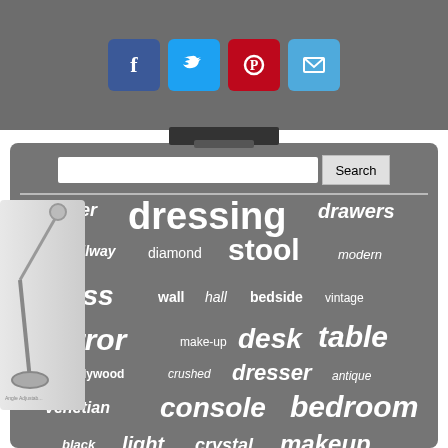[Figure (screenshot): Website screenshot showing social media share buttons (Facebook, Twitter, Pinterest, Email), a search bar, and a word cloud with furniture/mirror related terms on a grey background. A partial product image is visible on the left side.]
drawer dressing drawers hallway diamond stool modern glass wall hall bedside vintage mirror make-up desk table hollywood crushed dresser antique venetian console bedroom black light crystal makeup mirrored mirrors home vanity make furniture white silver